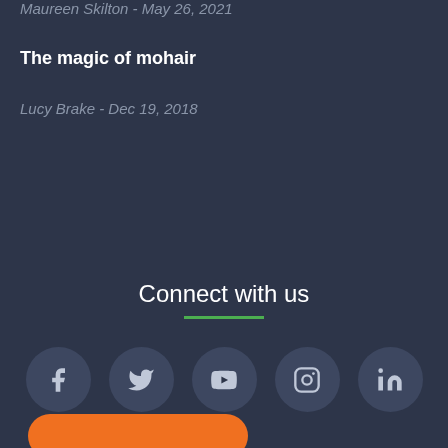Maureen Skilton - May 26, 2021
The magic of mohair
Lucy Brake - Dec 19, 2018
Connect with us
[Figure (infographic): Social media icons row: Facebook, Twitter, YouTube, Instagram, LinkedIn — each in a dark circle button]
[Figure (other): Orange rounded rectangle button (partially visible at bottom)]